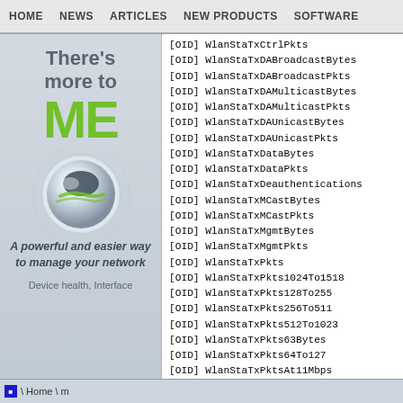HOME   NEWS   ARTICLES   NEW PRODUCTS   SOFTWARE
[Figure (illustration): Advertisement for network management software showing 'There's more to ME' text with a stylized globe/ball graphic and tagline 'A powerful and easier way to manage your network. Device health, Interface']
[OID] WlanStaTxCtrlPkts
[OID] WlanStaTxDABroadcastBytes
[OID] WlanStaTxDABroadcastPkts
[OID] WlanStaTxDAMulticastBytes
[OID] WlanStaTxDAMulticastPkts
[OID] WlanStaTxDAUnicastBytes
[OID] WlanStaTxDAUnicastPkts
[OID] WlanStaTxDataBytes
[OID] WlanStaTxDataPkts
[OID] WlanStaTxDeauthentications
[OID] WlanStaTxMCastBytes
[OID] WlanStaTxMCastPkts
[OID] WlanStaTxMgmtBytes
[OID] WlanStaTxMgmtPkts
[OID] WlanStaTxPkts
[OID] WlanStaTxPkts1024To1518
[OID] WlanStaTxPkts128To255
[OID] WlanStaTxPkts256To511
[OID] WlanStaTxPkts512To1023
[OID] WlanStaTxPkts63Bytes
[OID] WlanStaTxPkts64To127
[OID] WlanStaTxPktsAt11Mbps
[OID] WlanStaTxPktsAt12Mbps
[OID] WlanStaTxPktsAt18Mbps
[OID] WlanStaTxPktsAt1Mbps
Home \ m